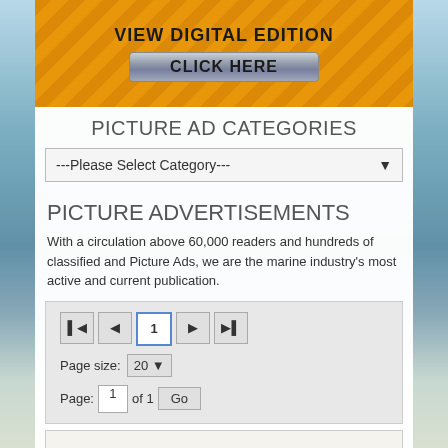[Figure (screenshot): Ocean/waves background image behind the page content]
VIEW DIGITAL EDITION
CLICK HERE
PICTURE AD CATEGORIES
---Please Select Category---
PICTURE ADVERTISEMENTS
With a circulation above 60,000 readers and hundreds of classified and Picture Ads, we are the marine industry's most active and current publication.
Navigation: |< < 1 > >| Page size: 20 Page: 1 of 1 Go
TUGBOATS FOR SALE LEASE/CHARTER